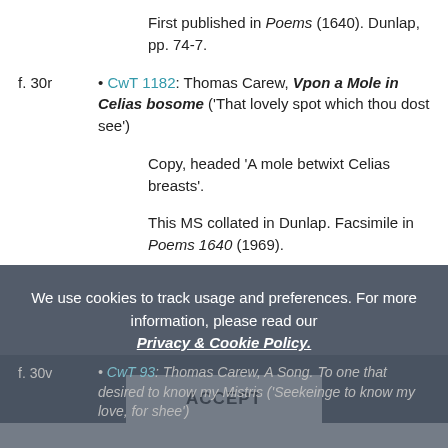First published in Poems (1640). Dunlap, pp. 74-7.
f. 30r • CwT 1182: Thomas Carew, Vpon a Mole in Celias bosome ('That lovely spot which thou dost see')
Copy, headed ‘A mole betwixt Celias breasts’.
This MS collated in Dunlap. Facsimile in Poems 1640 (1969).
We use cookies to track usage and preferences. For more information, please read our Privacy & Cookie Policy.
ACCEPT
f. 30v • CwT 93: Thomas Carew, A Song. To one that desired to know my Mistris ('Seekeinge to know my love, for shee')